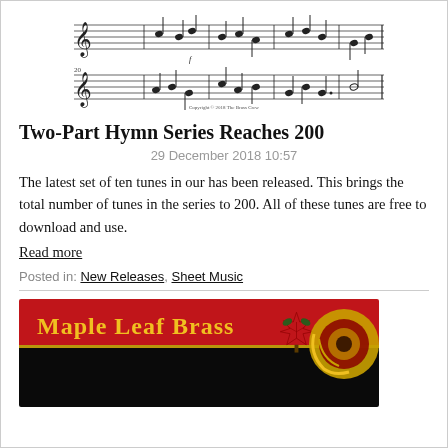[Figure (illustration): Sheet music notation showing two staves of music with treble clef, notes, and a copyright notice at the bottom.]
Two-Part Hymn Series Reaches 200
29 December 2018 10:57
The latest set of ten tunes in our has been released. This brings the total number of tunes in the series to 200. All of these tunes are free to download and use.
Read more
Posted in: New Releases, Sheet Music
[Figure (logo): Maple Leaf Brass banner with red background, gold text reading 'Maple Leaf Brass', a red maple leaf, and a gold French horn on the right side. Lower portion is black.]